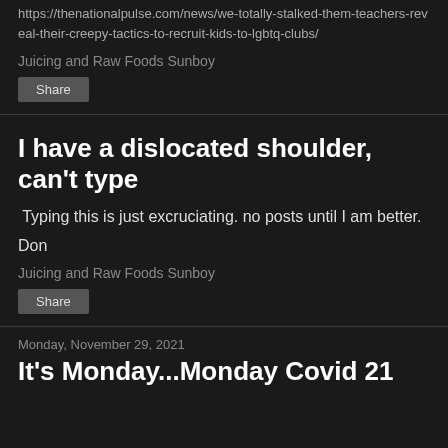https://thenationalpulse.com/news/we-totally-stalked-them-teachers-reveal-their-creepy-tactics-to-recruit-kids-to-lgbtq-clubs/
Juicing and Raw Foods Sunboy
Share
I have a dislocated shoulder, can't type
Typing this is just excruciating. no posts until I am better.
Don
Juicing and Raw Foods Sunboy
Share
Monday, November 29, 2021
It's Monday...Monday Covid 21